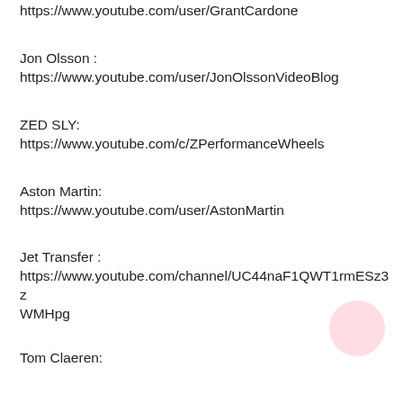https://www.youtube.com/user/GrantCardone
Jon Olsson :
https://www.youtube.com/user/JonOlssonVideoBlog
ZED SLY:
https://www.youtube.com/c/ZPerformanceWheels
Aston Martin:
https://www.youtube.com/user/AstonMartin
Jet Transfer :
https://www.youtube.com/channel/UC44naF1QWT1rmESz3zWMHpg
Tom Claeren: